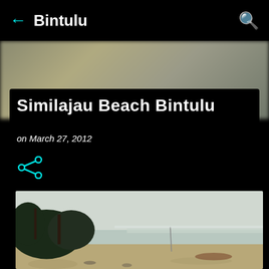Bintulu
[Figure (photo): Blurred background banner image, muted greenish-tan tones]
Similajau Beach Bintulu
on March 27, 2012
[Figure (illustration): Share icon (cyan)]
[Figure (photo): Beach photo showing sandy shore with trees and vegetation on the left, calm sea in the background, overcast sky]